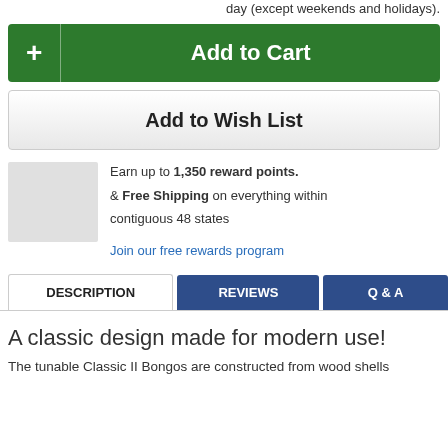day (except weekends and holidays).
+ Add to Cart
Add to Wish List
Earn up to 1,350 reward points. & Free Shipping on everything within contiguous 48 states
Join our free rewards program
DESCRIPTION | REVIEWS | Q & A
A classic design made for modern use!
The tunable Classic II Bongos are constructed from wood shells